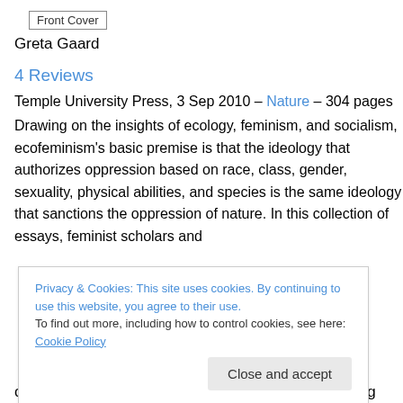Front Cover
Greta Gaard
4 Reviews
Temple University Press, 3 Sep 2010 – Nature – 304 pages
Drawing on the insights of ecology, feminism, and socialism, ecofeminism's basic premise is that the ideology that authorizes oppression based on race, class, gender, sexuality, physical abilities, and species is the same ideology that sanctions the oppression of nature. In this collection of essays, feminist scholars and
Privacy & Cookies: This site uses cookies. By continuing to use this website, you agree to their use. To find out more, including how to control cookies, see here: Cookie Policy
Close and accept
of these twelve articles is to contribute to the evolving